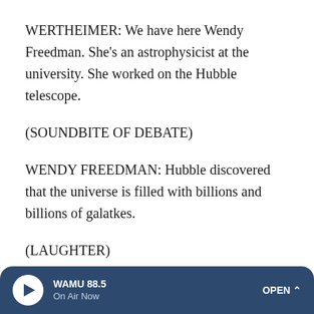WERTHEIMER: We have here Wendy Freedman. She's an astrophysicist at the university. She worked on the Hubble telescope.
(SOUNDBITE OF DEBATE)
WENDY FREEDMAN: Hubble discovered that the universe is filled with billions and billions of galatkes.
(LAUGHTER)
FREEDMAN: These galaxies, as the galatkes are now referred to, are taking part in a global expansion of the entire universe. Even with the powerful Hubble Space Telescope,
WAMU 88.5 On Air Now OPEN